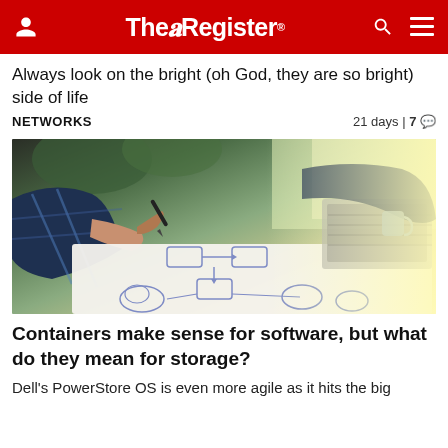The Register
Always look on the bright (oh God, they are so bright) side of life
NETWORKS   21 days | 7
[Figure (photo): Person in plaid shirt writing on paper with pen, with a laptop visible in the background and a hand-drawn network/flowchart diagram on the paper in blue ink]
Containers make sense for software, but what do they mean for storage?
Dell's PowerStore OS is even more agile as it hits the big